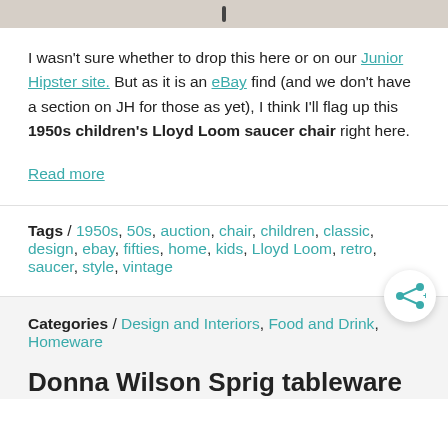[Figure (photo): Top portion of a photo showing a light-colored carpet/floor surface with a small dark object visible.]
I wasn't sure whether to drop this here or on our Junior Hipster site. But as it is an eBay find (and we don't have a section on JH for those as yet), I think I'll flag up this 1950s children's Lloyd Loom saucer chair right here.
Read more
Tags / 1950s, 50s, auction, chair, children, classic, design, ebay, fifties, home, kids, Lloyd Loom, retro, saucer, style, vintage
Categories / Design and Interiors, Food and Drink, Homeware
Donna Wilson Sprig tableware